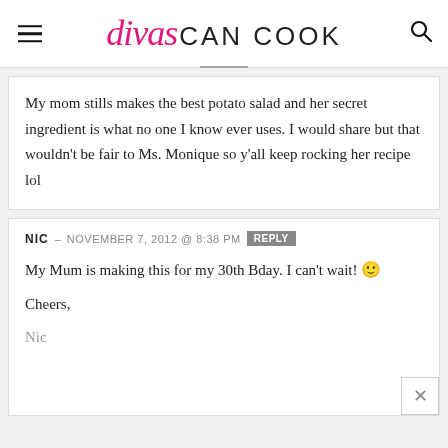divas CAN COOK
My mom stills makes the best potato salad and her secret ingredient is what no one I know ever uses. I would share but that wouldn't be fair to Ms. Monique so y'all keep rocking her recipe lol
NIC – NOVEMBER 7, 2012 @ 8:38 PM REPLY
My Mum is making this for my 30th Bday. I can't wait! 🙂

Cheers,

Nic